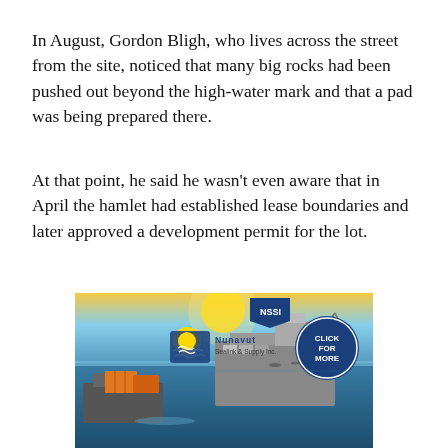In August, Gordon Bligh, who lives across the street from the site, noticed that many big rocks had been pushed out beyond the high-water mark and that a pad was being prepared there.
At that point, he said he wasn't even aware that in April the hamlet had established lease boundaries and later approved a development permit for the lot.
[Figure (photo): Advertisement for Nunavut Sealink & Supply Inc. (NSSI) showing a large cargo ship and a tugboat with containers on water. The image includes the NSSI logo with a yellow sun and blue waves, company name 'Nunavut Sealink & Supply Inc.' and a dark blue circle button with text 'CLICK FOR MORE'.]